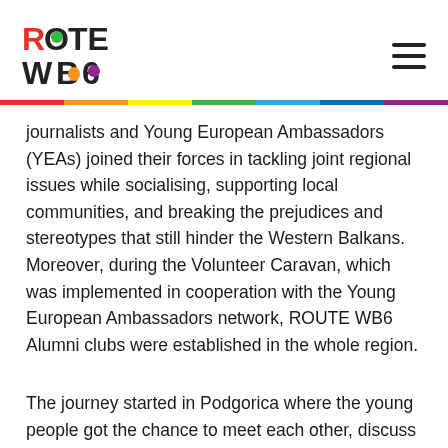ROUTE WB6
journalists and Young European Ambassadors (YEAs) joined their forces in tackling joint regional issues while socialising, supporting local communities, and breaking the prejudices and stereotypes that still hinder the Western Balkans. Moreover, during the Volunteer Caravan, which was implemented in cooperation with the Young European Ambassadors network, ROUTE WB6 Alumni clubs were established in the whole region.
The journey started in Podgorica where the young people got the chance to meet each other, discuss their understanding of identities, and present their